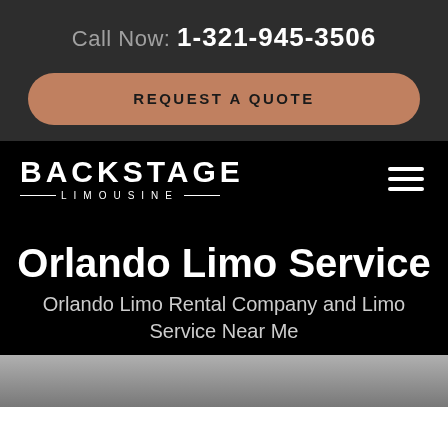Call Now: 1-321-945-3506
REQUEST A QUOTE
[Figure (logo): Backstage Limousine logo with hamburger menu icon]
Orlando Limo Service
Orlando Limo Rental Company and Limo Service Near Me
[Figure (photo): Partial photo at bottom of page, appears to show a vehicle or limousine]